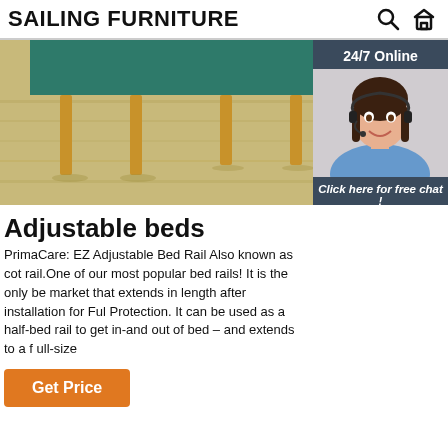SAILING FURNITURE
[Figure (photo): Hero banner photo of furniture with teal/green chairs on a light wood floor, partially obscured by a 24/7 Online chat widget on the right side featuring a smiling woman with a headset.]
Adjustable beds
PrimaCare: EZ Adjustable Bed Rail Also known as cot rail.One of our most popular bed rails! It is the only be market that extends in length after installation for Ful Protection. It can be used as a half-bed rail to get in-and out of bed – and extends to a f ull-size
Get Price